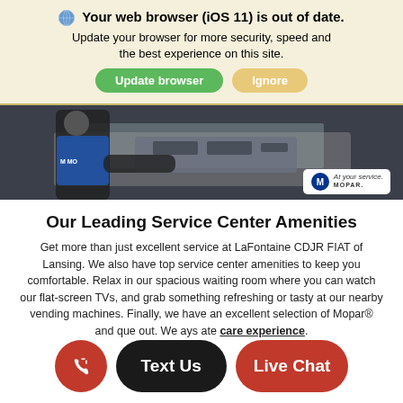Your web browser (iOS 11) is out of date. Update your browser for more security, speed and the best experience on this site. Update browser | Ignore
[Figure (photo): Mechanic in Mopar uniform working under a car hood, with a Mopar 'At your service' logo badge visible in the lower right corner]
Our Leading Service Center Amenities
Get more than just excellent service at LaFontaine CDJR FIAT of Lansing. We also have top service center amenities to keep you comfortable. Relax in our spacious waiting room where you can watch our flat-screen TVs, and grab something refreshing or tasty at our nearby vending machines. Finally, we have an excellent selection of Mopar® and que out. We ays ate care experience.